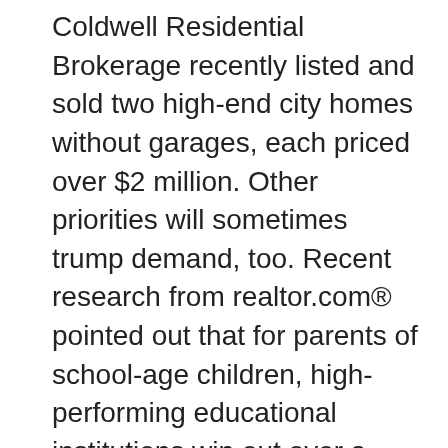Coldwell Residential Brokerage recently listed and sold two high-end city homes without garages, each priced over $2 million. Other priorities will sometimes trump demand, too. Recent research from realtor.com® pointed out that for parents of school-age children, high-performing educational institutions win out over a garage. However, it's still rare to find buyers who completely eschew them, though the data is scant. A recent poll conducted by Houzz found that only one in 10 respondents said they don't need a garage. A few years earlier, the National Association of REALTORS®' 2013 Home Features Survey found that 78 percent of homeowners had a garage and that the